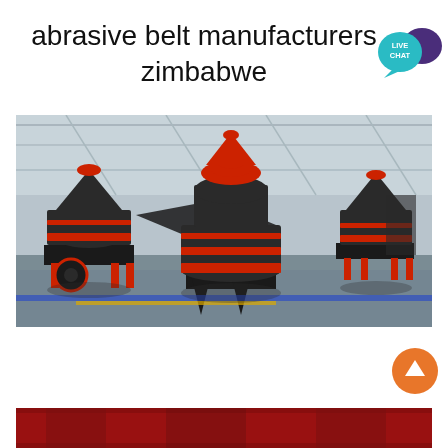abrasive belt manufacturers zimbabwe
[Figure (photo): Industrial cone crushers on a factory floor. Three large black and red cone crusher machines are displayed inside a large warehouse/manufacturing facility with metal roof trusses visible above.]
[Figure (photo): Partial view of another industrial machine at the bottom of the page, showing red and dark metallic components.]